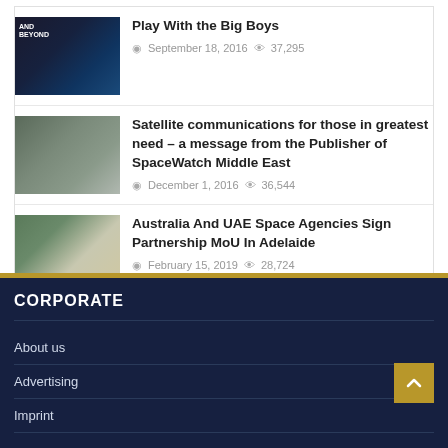Play With the Big Boys — September 18, 2016 — 37,295 views
Satellite communications for those in greatest need – a message from the Publisher of SpaceWatch Middle East — December 1, 2016 — 36,544 views
Australia And UAE Space Agencies Sign Partnership MoU In Adelaide — February 15, 2019 — 28,724 views
CORPORATE
About us
Advertising
Imprint